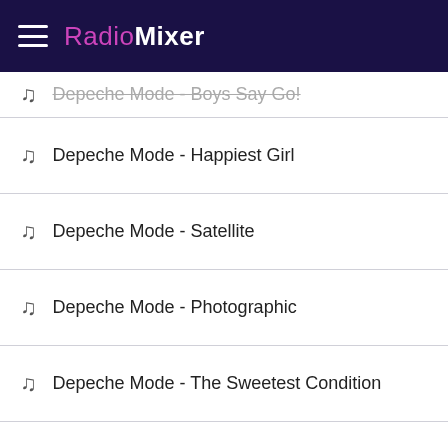RadioMixer
Depeche Mode - Boys Say Go!
Depeche Mode - Happiest Girl
Depeche Mode - Satellite
Depeche Mode - Photographic
Depeche Mode - The Sweetest Condition
Depeche Mode - It Doesn't Matter II
Depeche Mode - Enjoy The Silence (Live
Depeche Mode - It's Called a Heart
Depeche Mode - Blasphempous Rumours
Depeche Mode - Goodnight lovers